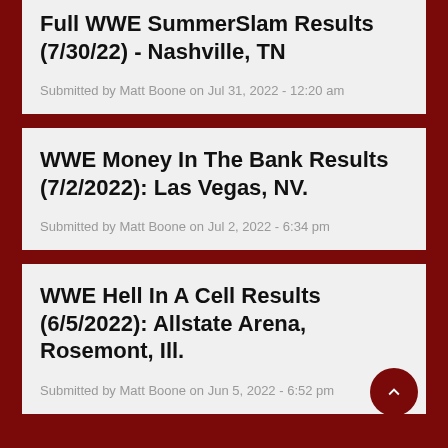Full WWE SummerSlam Results (7/30/22) - Nashville, TN
Submitted by Matt Boone on Jul 31, 2022 - 12:20 am
WWE Money In The Bank Results (7/2/2022): Las Vegas, NV.
Submitted by Matt Boone on Jul 2, 2022 - 6:34 pm
WWE Hell In A Cell Results (6/5/2022): Allstate Arena, Rosemont, Ill.
Submitted by Matt Boone on Jun 5, 2022 - 6:52 pm